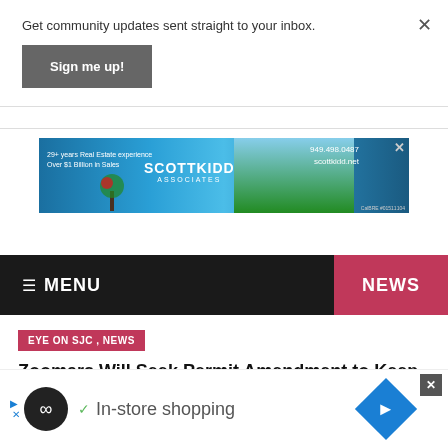Get community updates sent straight to your inbox.
Sign me up!
[Figure (screenshot): Scott Kidd Associates real estate advertisement banner with coastal/ocean background image, text: '29+ years Real Estate experience Over $1 Billion in Sales', 'SCOTTKIDD ASSOCIATES', '949.498.0487 scottkidd.net']
≡ MENU    NEWS
EYE ON SJC , NEWS
Zoomars Will Seek Permit Amendment to Keep Dinosaur
[Figure (screenshot): Bottom advertisement bar with infinity loop logo, checkmark icon, 'In-store shopping' text, and blue diamond navigation icon]